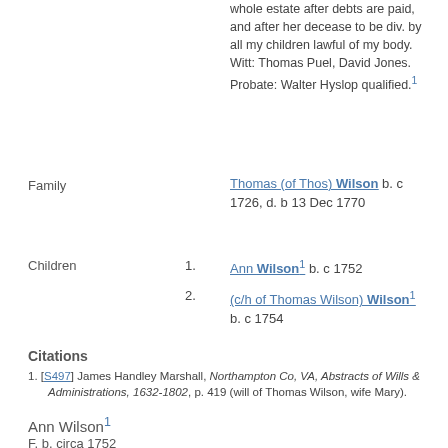whole estate after debts are paid, and after her decease to be div. by all my children lawful of my body. Witt: Thomas Puel, David Jones. Probate: Walter Hyslop qualified.1
Family
Thomas (of Thos) Wilson b. c 1726, d. b 13 Dec 1770
Children
1. Ann Wilson1 b. c 1752
2. (c/h of Thomas Wilson) Wilson1 b. c 1754
Citations
1. [S497] James Handley Marshall, Northampton Co, VA, Abstracts of Wills & Administrations, 1632-1802, p. 419 (will of Thomas Wilson, wife Mary).
Ann Wilson1
F, b. circa 1752